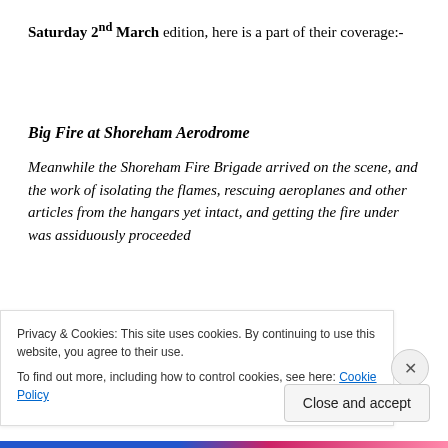Saturday 2nd March edition, here is a part of their coverage:-
Big Fire at Shoreham Aerodrome
Meanwhile the Shoreham Fire Brigade arrived on the scene, and the work of isolating the flames, rescuing aeroplanes and other articles from the hangars yet intact, and getting the fire under was assiduously proceeded
Privacy & Cookies: This site uses cookies. By continuing to use this website, you agree to their use.
To find out more, including how to control cookies, see here: Cookie Policy